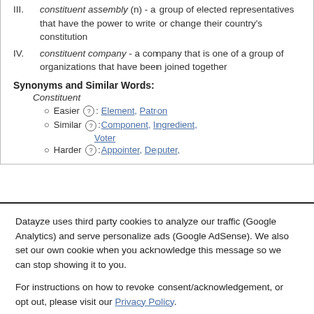III. constituent assembly (n) - a group of elected representatives that have the power to write or change their country's constitution
IV. constituent company - a company that is one of a group of organizations that have been joined together
Synonyms and Similar Words:
Constituent
Easier: Element, Patron
Similar: Component, Ingredient, Voter
Harder: Appointer, Deputer,
Datayze uses third party cookies to analyze our traffic (Google Analytics) and serve personalize ads (Google AdSense). We also set our own cookie when you acknowledge this message so we can stop showing it to you.
For instructions on how to revoke consent/acknowledgement, or opt out, please visit our Privacy Policy.